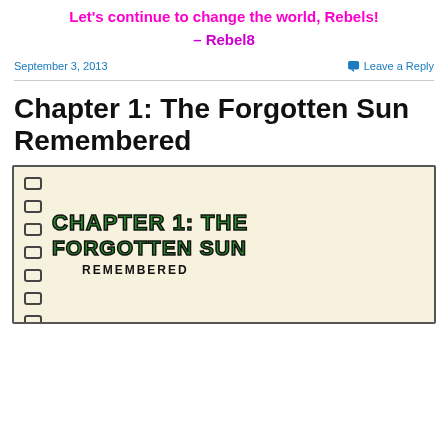Let's continue to change the world, Rebels!
– Rebel8
September 3, 2013
Leave a Reply
Chapter 1: The Forgotten Sun Remembered
[Figure (photo): Hand-drawn notebook cover with spiral binding on left side, featuring hand-lettered text in green block letters reading 'CHAPTER 1: THE FORGOTTEN SUN' and below in black 'REMEMBERED']